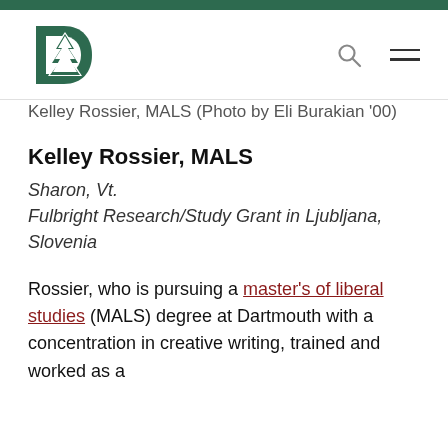Kelley Rossier, MALS (Photo by Eli Burakian '00)
Kelley Rossier, MALS
Sharon, Vt.
Fulbright Research/Study Grant in Ljubljana, Slovenia
Rossier, who is pursuing a master's of liberal studies (MALS) degree at Dartmouth with a concentration in creative writing, trained and worked as a